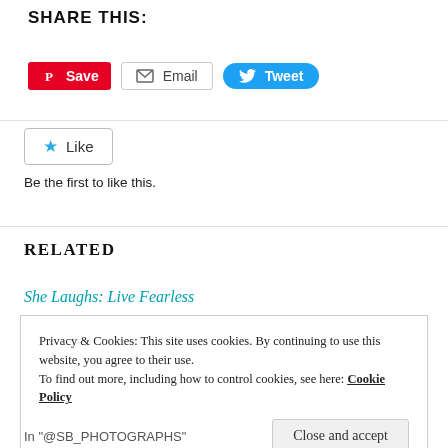SHARE THIS:
[Figure (screenshot): Social sharing buttons: Pinterest Save, Email, Tweet]
[Figure (screenshot): Like button with blue star icon]
Be the first to like this.
RELATED
She Laughs: Live Fearless
Privacy & Cookies: This site uses cookies. By continuing to use this website, you agree to their use.
To find out more, including how to control cookies, see here: Cookie Policy
Close and accept
In "@SB_PHOTOGRAPHS"